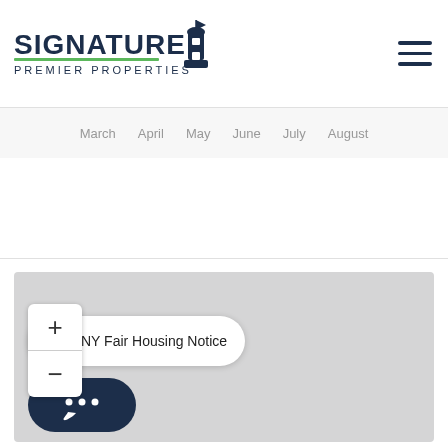[Figure (logo): Signature Premier Properties logo with lighthouse icon]
[Figure (other): Hamburger menu icon (three horizontal lines)]
March   April   May   June   July   August
[Figure (map): Interactive map area (light gray, blank), with zoom controls (+/-) and NY Fair Housing Notice badge, and chat button]
NY Fair Housing Notice